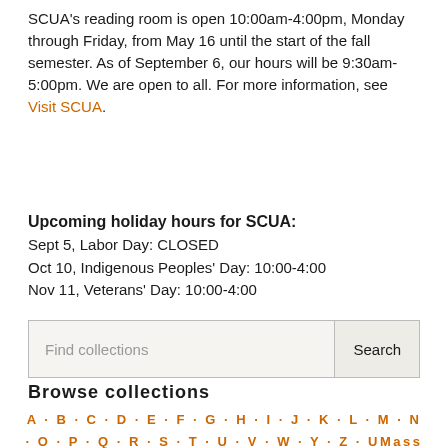SCUA's reading room is open 10:00am-4:00pm, Monday through Friday, from May 16 until the start of the fall semester. As of September 6, our hours will be 9:30am-5:00pm. We are open to all. For more information, see Visit SCUA.
Upcoming holiday hours for SCUA:
Sept 5, Labor Day: CLOSED
Oct 10, Indigenous Peoples' Day: 10:00-4:00
Nov 11, Veterans' Day: 10:00-4:00
Find collections
Browse collections
A · B · C · D · E · F · G · H · I · J · K · L · M · N
· O · P · Q · R · S · T · U · V · W · Y · Z · UMass